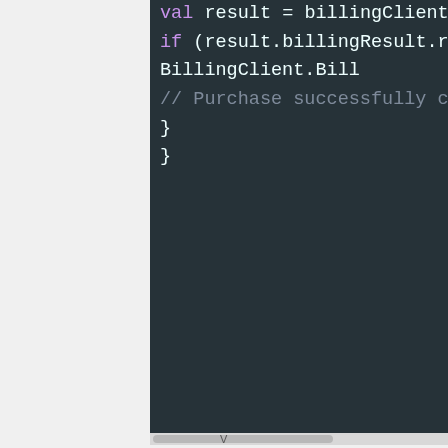[Figure (screenshot): Dark-themed code editor screenshot showing Kotlin/Java code snippet with billing client consume purchase logic. Lines visible: 'val result = billingClient.consum...', 'if (result.billingResult.responseCo...', 'BillingClient.Bill...', '// Purchase successfully consum...', closing braces '}' and '}'. Horizontal scrollbar at bottom.]
V